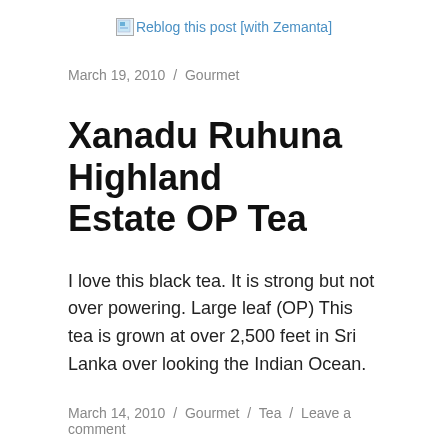[Figure (other): Reblog this post [with Zemanta] link with small image icon]
March 19, 2010 / Gourmet
Xanadu Ruhuna Highland Estate OP Tea
I love this black tea. It is strong but not over powering. Large leaf (OP) This tea is grown at over 2,500 feet in Sri Lanka over looking the Indian Ocean.
March 14, 2010 / Gourmet / Tea / Leave a comment